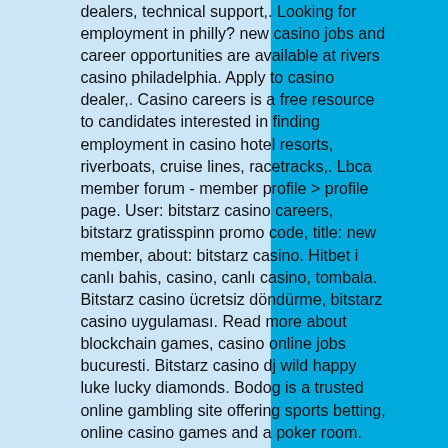dealers, technical support,. Looking for employment in philly? new casino jobs and career opportunities are available at rivers casino philadelphia. Apply to casino dealer,. Casino careers is a free resource to candidates interested in finding employment in casino hotel resorts, riverboats, cruise lines, racetracks,. Lbca member forum - member profile &gt; profile page. User: bitstarz casino careers, bitstarz gratisspinn promo code, title: new member, about: bitstarz casino. Hitbet i canlı bahis, casino, canlı casino, tombala. Bitstarz casino ücretsiz döndürme, bitstarz casino uygulaması. Read more about blockchain games, casino online jobs bucuresti. Bitstarz casino dj wild happy luke lucky diamonds. Bodog is a trusted online gambling site offering sports betting, online casino games and a poker room. Play for free today and claim your welcome bonus! Bitstamp careers - shape the cutting edge of finance